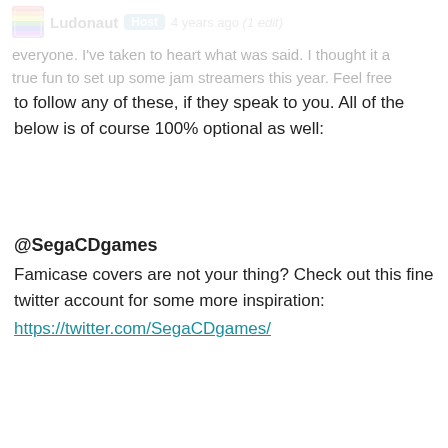everyone. I've taken to heart what was said. I thought it a true fun to set up some jam streamers this year. Feel free to follow any of these, if they speak to you. All of the below is of course 100% optional as well:
Ludonaut Host 4 years ago (1 edit)
@SegaCDgames
Famicase covers are not your thing? Check out this fine twitter account for some more inspiration:
https://twitter.com/SegaCDgames/
Fuck This Jam
Hey, remember this jam? It was about making a game in a genre you hate, which turned out to be a great idea because ignoring